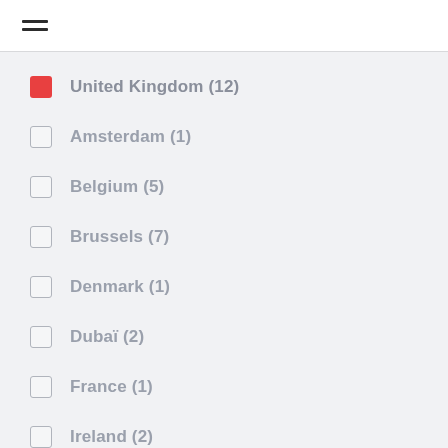menu
United Kingdom (12)
Amsterdam (1)
Belgium (5)
Brussels (7)
Denmark (1)
Dubaï (2)
France (1)
Ireland (2)